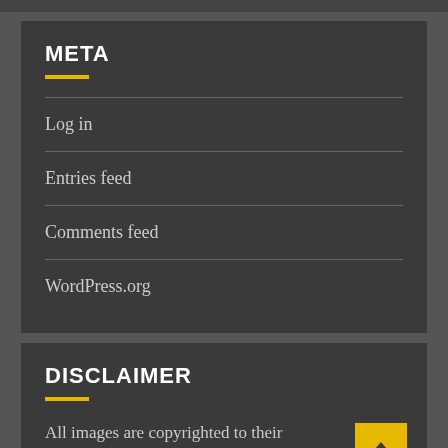META
Log in
Entries feed
Comments feed
WordPress.org
DISCLAIMER
All images are copyrighted to their respective owners. All content cited is derived from their respective sources.